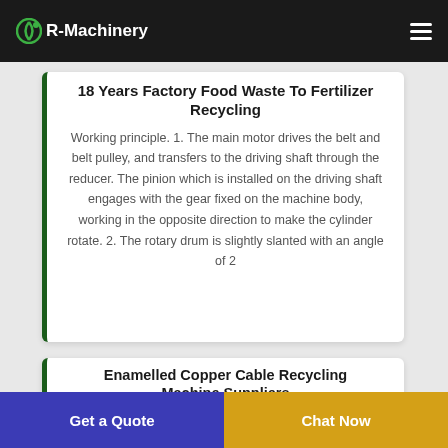R-Machinery
18 Years Factory Food Waste To Fertilizer Recycling
Working principle. 1. The main motor drives the belt and belt pulley, and transfers to the driving shaft through the reducer. The pinion which is installed on the driving shaft engages with the gear fixed on the machine body, working in the opposite direction to make the cylinder rotate. 2. The rotary drum is slightly slanted with an angle of 2
Enamelled Copper Cable Recycling Machine Suppliers
Working principle of the...
Get a Quote
Chat Now